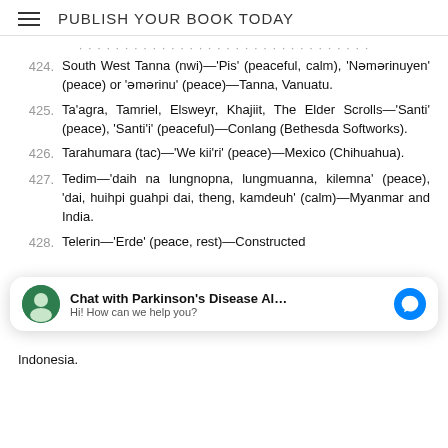PUBLISH YOUR BOOK TODAY
424. South West Tanna (nwi)—'Pis' (peaceful, calm), 'Nəmərinuyen' (peace) or 'əmərinu' (peace)—Tanna, Vanuatu.
425. Ta'agra, Tamriel, Elsweyr, Khajiit, The Elder Scrolls—'Santi' (peace), 'Santi'i' (peaceful)—Conlang (Bethesda Softworks).
426. Tarahumara (tac)—'We kii'ri' (peace)—Mexico (Chihuahua).
427. Tedim—'daih na lungnopna, lungmuanna, kilemna' (peace), 'dai, huihpi guahpi dai, theng, kamdeuh' (calm)—Myanmar and India.
428. Telerin—'Erde' (peace, rest)—Constructed language...
Indonesia.